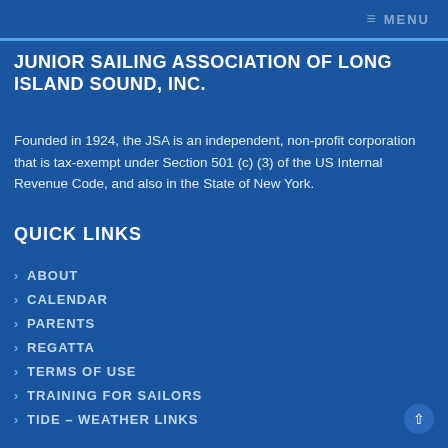≡ MENU
JUNIOR SAILING ASSOCIATION OF LONG ISLAND SOUND, INC.
Founded in 1924, the JSA is an independent, non-profit corporation that is tax-exempt under Section 501 (c) (3) of the US Internal Revenue Code, and also in the State of New York.
QUICK LINKS
› ABOUT
› CALENDAR
› PARENTS
› REGATTA
› TERMS OF USE
› TRAINING FOR SAILORS
› TIDE – WEATHER LINKS